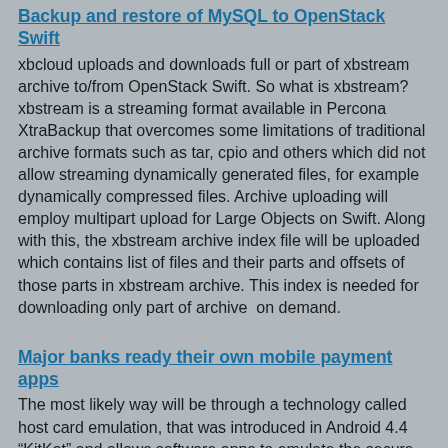Backup and restore of MySQL to OpenStack Swift
xbcloud uploads and downloads full or part of xbstream archive to/from OpenStack Swift. So what is xbstream? xbstream is a streaming format available in Percona XtraBackup that overcomes some limitations of traditional archive formats such as tar, cpio and others which did not allow streaming dynamically generated files, for example dynamically compressed files. Archive uploading will employ multipart upload for Large Objects on Swift. Along with this, the xbstream archive index file will be uploaded which contains list of files and their parts and offsets of those parts in xbstream archive. This index is needed for downloading only part of archive  on demand.
Major banks ready their own mobile payment apps
The most likely way will be through a technology called host card emulation, that was introduced in Android 4.4 “KitKat” and allows software apps to emulate the secure element chip found on some bank cards and the iPhone 6. Using software means wider compatibility with phones than if a dedicated chip was required. The mobile payments market